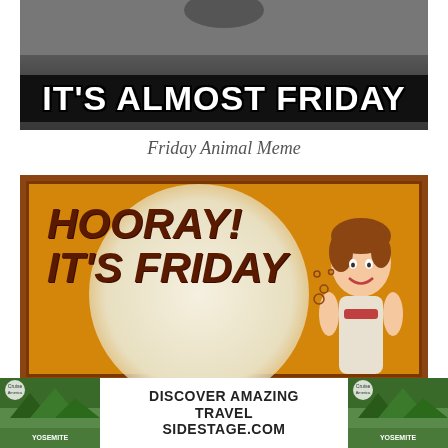[Figure (photo): Black and white meme image with text 'IT'S ALMOST FRIDAY' in bold white letters on dark background]
Friday Animal Meme
[Figure (photo): Retro vintage sign with orange/yellow background saying 'HOORAY! IT'S FRIDAY' in dark red bold italic text, with a retro illustration of a smiling woman]
[Figure (photo): Advertisement banner: 'DISCOVER AMAZING TRAVEL SIDESTAGE.COM' with Yosemite landscape images on both sides]